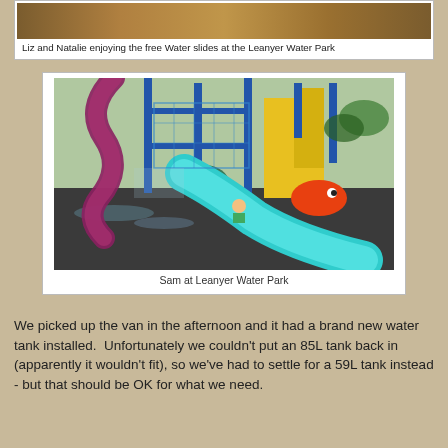Liz and Natalie enjoying the free Water slides at the Leanyer Water Park
[Figure (photo): Photo of a water park with a teal slide and colorful play structures, a child coming down the slide. Blue metal frames, yellow and red elements visible.]
Sam at Leanyer Water Park
We picked up the van in the afternoon and it had a brand new water tank installed.  Unfortunately we couldn't put an 85L tank back in (apparently it wouldn't fit), so we've had to settle for a 59L tank instead - but that should be OK for what we need.